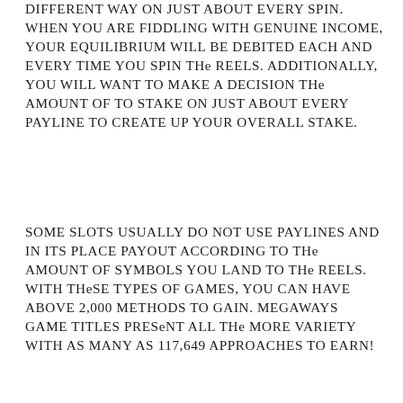different way on just about every spin. When you are fiddling with genuine income, your equilibrium will be debited each and every time you spin the reels. Additionally, you will want to make a decision the amount of to stake on just about every payline to create up your overall stake.
Some slots usually do not use paylines and in its place payout according to the amount of symbols you land to the reels. With these types of games, you can have above 2,000 methods to gain. Megaways game titles present all the more variety with as many as 117,649 approaches to earn!